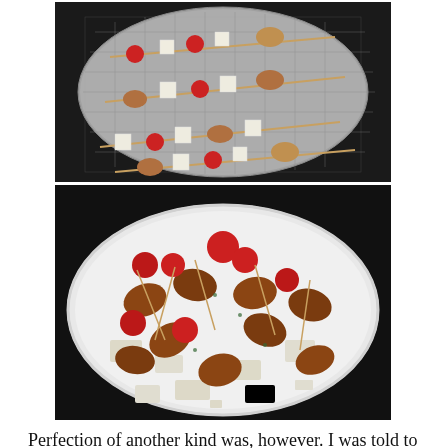[Figure (photo): Food skewers with cherry tomatoes, white cheese cubes, and small sausages/potatoes on a round wire grill basket over a grill]
[Figure (photo): Grilled food skewers disassembled on a white plate showing tomatoes, cheese, and sausages/potatoes after cooking]
Perfection of another kind was, however. I was told to put a huge star on the page! While the potatoes could have been cooked a bit more, and the cheese